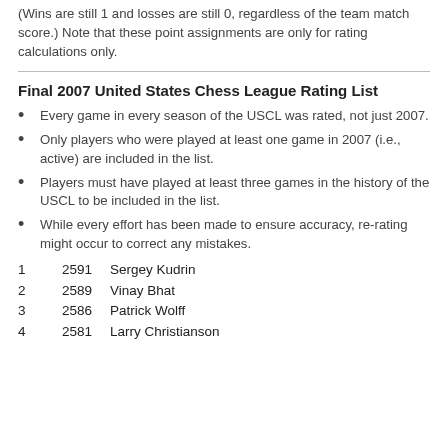(Wins are still 1 and losses are still 0, regardless of the team match score.) Note that these point assignments are only for rating calculations only.
Final 2007 United States Chess League Rating List
Every game in every season of the USCL was rated, not just 2007.
Only players who were played at least one game in 2007 (i.e., active) are included in the list.
Players must have played at least three games in the history of the USCL to be included in the list.
While every effort has been made to ensure accuracy, re-rating might occur to correct any mistakes.
1    2591 Sergey Kudrin
2    2589 Vinay Bhat
3    2586 Patrick Wolff
4    2581 Larry Christianson